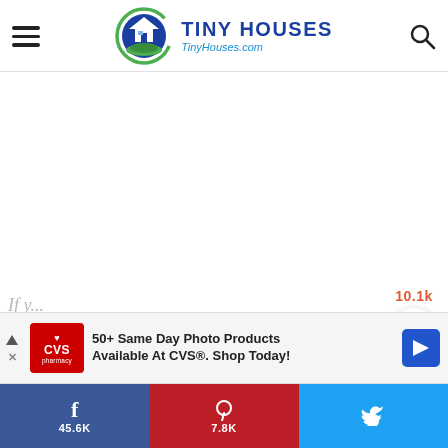TINY HOUSES TinyHouses.com
[Figure (logo): Tiny Houses logo with house icon inside green/blue circular swoosh, text TINY HOUSES and TinyHouses.com]
[Figure (infographic): Floating action button with heart icon showing 10.1k likes, and a round orange search button below]
[Figure (screenshot): CVS Pharmacy advertisement banner: 50+ Same Day Photo Products Available At CVS. Shop Today!]
If y...
f 45.6K  [Pinterest] 7.8K  [Twitter]